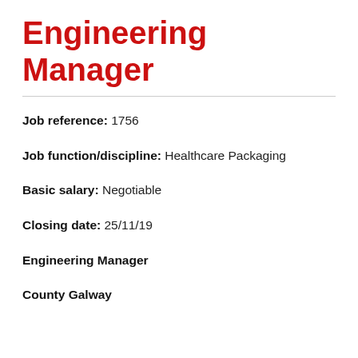Engineering Manager
Job reference: 1756
Job function/discipline: Healthcare Packaging
Basic salary: Negotiable
Closing date: 25/11/19
Engineering Manager
County Galway